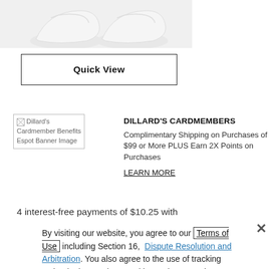[Figure (photo): Partial view of white sneakers/shoes product image at top of page]
Quick View
[Figure (illustration): Dillard's Cardmember Benefits Espot Banner Image - placeholder image with alt text]
DILLARD'S CARDMEMBERS
Complimentary Shipping on Purchases of $99 or More PLUS Earn 2X Points on Purchases
LEARN MORE
4 interest-free payments of $10.25 with
By visiting our website, you agree to our Terms of Use including Section 16, Dispute Resolution and Arbitration. You also agree to the use of tracking technologies, such as cookies, to improve site functionality, personalize site content, analyze site traffic, advertise on other sites and record how you interact with our site. You can adjust how certain technologies are used on our site through Cookie Settings.